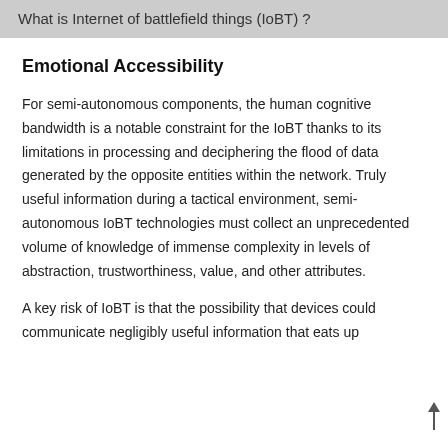What is Internet of battlefield things (IoBT) ?
Emotional Accessibility
For semi-autonomous components, the human cognitive bandwidth is a notable constraint for the IoBT thanks to its limitations in processing and deciphering the flood of data generated by the opposite entities within the network. Truly useful information during a tactical environment, semi-autonomous IoBT technologies must collect an unprecedented volume of knowledge of immense complexity in levels of abstraction, trustworthiness, value, and other attributes.
A key risk of IoBT is that the possibility that devices could communicate negligibly useful information that eats up